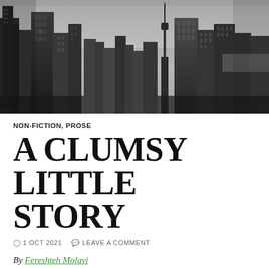[Figure (photo): Black and white aerial photograph of a city skyline featuring the CN Tower in Toronto, with tall skyscrapers and overcast sky]
NON-FICTION, PROSE
A CLUMSY LITTLE STORY
1 OCT 2021   LEAVE A COMMENT
By Fereshteh Molavi